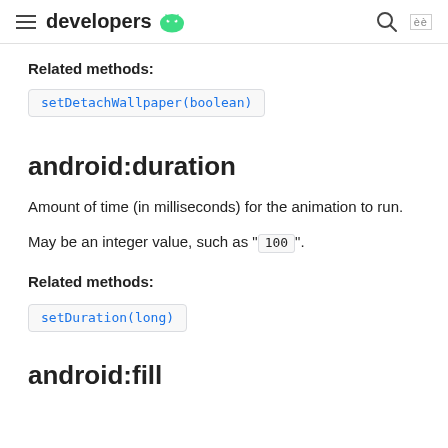developers
Related methods:
setDetachWallpaper(boolean)
android:duration
Amount of time (in milliseconds) for the animation to run.
May be an integer value, such as "100".
Related methods:
setDuration(long)
android:fill...